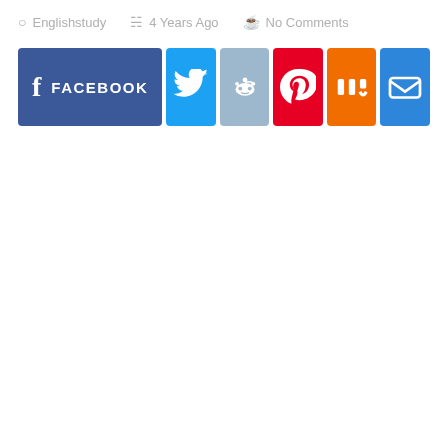Englishstudy   4 Years Ago   No Comments
[Figure (infographic): Social share buttons: Facebook (wide blue button with f icon and FACEBOOK label), Twitter (cyan bird icon), Reddit (light blue alien icon), Pinterest (red P icon), Mix (orange m icon), Email (blue envelope icon)]